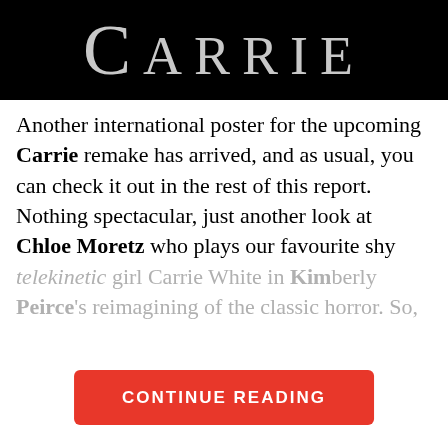[Figure (photo): Movie title banner for 'Carrie' — white large-caps text on black background]
Another international poster for the upcoming Carrie remake has arrived, and as usual, you can check it out in the rest of this report. Nothing spectacular, just another look at Chloe Moretz who plays our favourite shy telekinetic girl Carrie White in Kimberly Peirce's reimagining of the classic horror. So,
CONTINUE READING